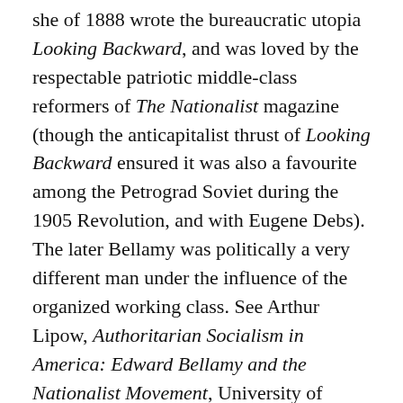she of 1888 wrote the bureaucratic utopia Looking Backward, and was loved by the respectable patriotic middle-class reformers of The Nationalist magazine (though the anticapitalist thrust of Looking Backward ensured it was also a favourite among the Petrograd Soviet during the 1905 Revolution, and with Eugene Debs). The later Bellamy was politically a very different man under the influence of the organized working class. See Arthur Lipow, Authoritarian Socialism in America: Edward Bellamy and the Nationalist Movement, University of California Press, Berkeley, 1982.
3. ^ Norman Geras, Solidarity in the Conversation of Humankind: The Ungroundable Liberalism of Richard Rorty, Verso, London, 1995, pp. 75, 128.